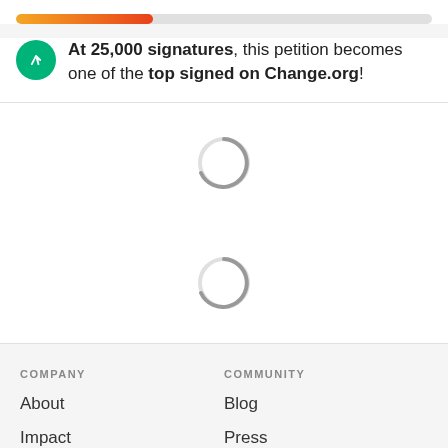[Figure (infographic): Progress bar showing partial fill with orange-to-red gradient on a gray background track]
At 25,000 signatures, this petition becomes one of the top signed on Change.org!
[Figure (infographic): Two loading spinner icons (circular arcs) indicating content is loading]
COMPANY
About
Impact
Careers
COMMUNITY
Blog
Press
Community Guidelines